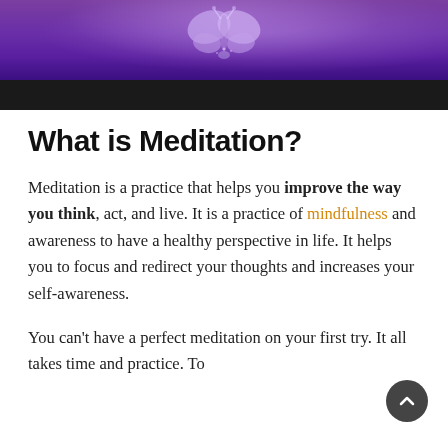[Figure (illustration): Purple gradient background with butterfly/figure illustration at top, black bar below]
What is Meditation?
Meditation is a practice that helps you improve the way you think, act, and live. It is a practice of mindfulness and awareness to have a healthy perspective in life. It helps you to focus and redirect your thoughts and increases your self-awareness.
You can't have a perfect meditation on your first try. It all takes time and practice. To